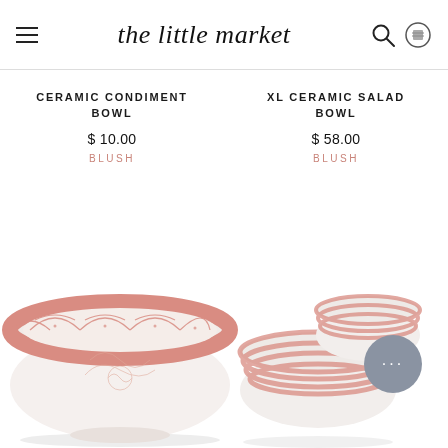the little market
CERAMIC CONDIMENT BOWL
$ 10.00
BLUSH
XL CERAMIC SALAD BOWL
$ 58.00
BLUSH
[Figure (photo): Ceramic condiment bowl with pink geometric pattern on rim, white interior, viewed from slightly above on white background]
[Figure (photo): Two small ceramic bowls with pink and white stripe pattern, stacked, viewed from side on white background]